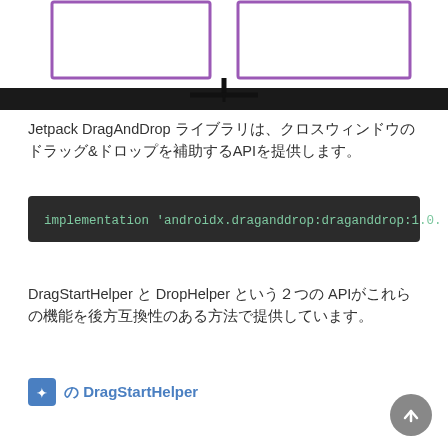[Figure (schematic): UI diagram showing two purple-bordered rectangular boxes side by side connected by a vertical line at the bottom forming a T-shape, all on a dark background bar at the bottom]
Jetpack DragAndDrop ライブラリは、クロスウィンドウのドラッグ&ドロップを補助するAPIを提供します。
[Figure (screenshot): Dark code block showing: implementation 'androidx.draganddrop:draganddrop:1.0.]
DragStartHelper と DropHelper という２つの APIがこれらの機能を後方互換性のある方法で提供しています。
✦ の DragStartHelper